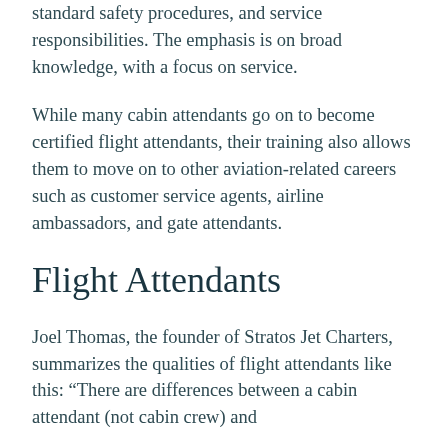standard safety procedures, and service responsibilities. The emphasis is on broad knowledge, with a focus on service.
While many cabin attendants go on to become certified flight attendants, their training also allows them to move on to other aviation-related careers such as customer service agents, airline ambassadors, and gate attendants.
Flight Attendants
Joel Thomas, the founder of Stratos Jet Charters, summarizes the qualities of flight attendants like this: “There are differences between a cabin attendant (not cabin crew) and